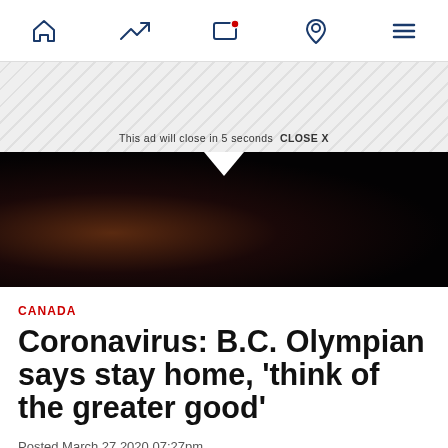Navigation bar with icons: home, trending, screen/TV with notification, location pin, menu
[Figure (screenshot): Ad banner with diagonal stripe pattern and 'This ad will close in 5 seconds  CLOSE X' text, followed by a dark photo]
CANADA
Coronavirus: B.C. Olympian says stay home, 'think of the greater good'
Posted March 27 2020 07:27pm